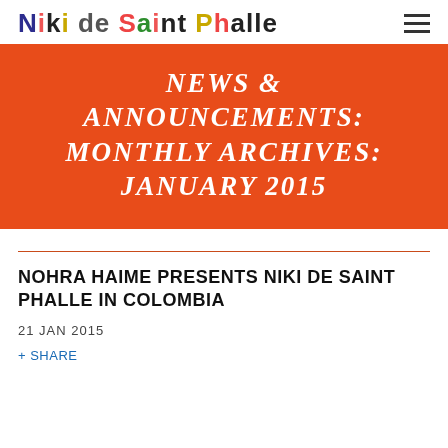Niki de Saint Phalle
NEWS & ANNOUNCEMENTS: MONTHLY ARCHIVES: JANUARY 2015
NOHRA HAIME PRESENTS NIKI DE SAINT PHALLE IN COLOMBIA
21 JAN 2015
+ SHARE